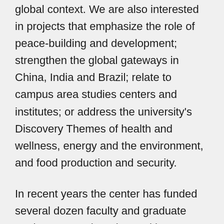global context. We are also interested in projects that emphasize the role of peace-building and development; strengthen the global gateways in China, India and Brazil; relate to campus area studies centers and institutes; or address the university's Discovery Themes of health and wellness, energy and the environment, and food production and security.
In recent years the center has funded several dozen faculty and graduate student research projects with grants for travel, seminars, conferences, interviews, experiments, surveys, library costs, and more. To learn more about the types of projects funded, please see faculty project summaries on the Mershon